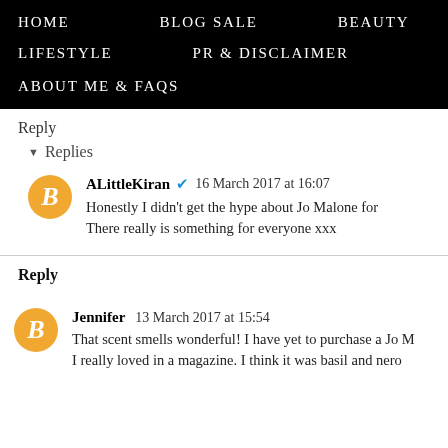HOME   BLOG SALE   BEAUTY   LIFESTYLE   PR & DISCLAIMER   ABOUT ME & FAQs
Reply
Replies
ALittleKiran  16 March 2017 at 16:07
Honestly I didn't get the hype about Jo Malone for There really is something for everyone xxx
Reply
Jennifer  13 March 2017 at 15:54
That scent smells wonderful! I have yet to purchase a Jo M I really loved in a magazine. I think it was basil and nero